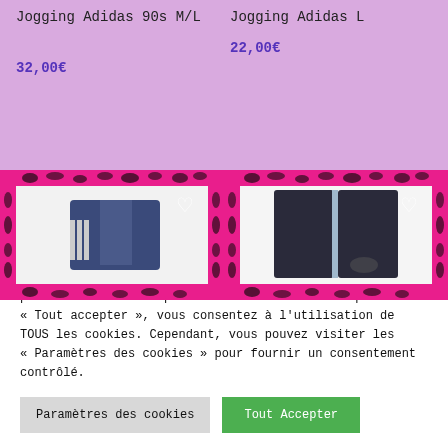Jogging Adidas 90s M/L
32,00€
Jogging Adidas L
22,00€
[Figure (photo): Two product images with pink leopard print borders: left shows a dark blue Adidas jacket, right shows dark Adidas track pants with light blue stripes. Both have heart/wishlist icons.]
Nous utilisons des cookies sur notre site Web pour vous offrir l'expérience la plus pertinente en mémorisant vos préférences et en répétant vos visites. En cliquant sur « Tout accepter », vous consentez à l'utilisation de TOUS les cookies. Cependant, vous pouvez visiter les « Paramètres des cookies » pour fournir un consentement contrôlé.
Paramètres des cookies
Tout Accepter